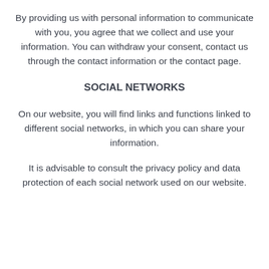By providing us with personal information to communicate with you, you agree that we collect and use your information. You can withdraw your consent, contact us through the contact information or the contact page.
SOCIAL NETWORKS
On our website, you will find links and functions linked to different social networks, in which you can share your information.
It is advisable to consult the privacy policy and data protection of each social network used on our website.